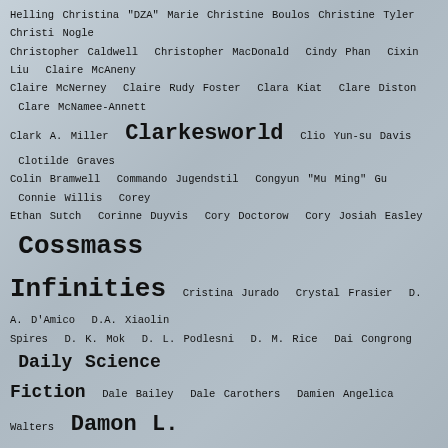Helling Christina "DZA" Marie Christine Boulos Christine Tyler Christi Nogle Christopher Caldwell Christopher MacDonald Cindy Phan Cixin Liu Claire McAneny Claire McNerney Claire Rudy Foster Clara Kiat Clare Diston Clare McNamee-Annett Clark A. Miller Clarkesworld Clio Yun-su Davis Clotilde Graves Colin Bramwell Commando Jugendstil Congyun "Mu Ming" Gu Connie Willis Corey Ethan Sutch Corinne Duyvis Cory Doctorow Cory Josiah Easley Cossmass Infinities Cristina Jurado Crystal Frasier D. A. D'Amico D.A. Xiaolin Spires D. K. Mok D. L. Podlesni D. M. Rice Dai Congrong Daily Science Fiction Dale Bailey Dale Carothers Damien Angelica Walters Damon L. Wakes Damon Shaw Dana Berube Daniela Tomova Daniel Delgado Daniel Huddleston Danielle Maurer Dantzel Cherry Daphne Fama Darby Harn Dare Segun Falowo Darkest Hours Daryl Gregory Dashiell Hammett DaVaun Sanders Dave D'Alessio Dave Ring David Barber David Cleden David D. Levine David Erik Nelson David Estringel David G. Clark David R. Grigg David Stevens Dawn Bonanno Dawn Trowell Jones Deij Bryce Olukotun Delia Sherman Delilah Night Dennis Danvers Derek Lubangakene Derrick Boden Devin Miller Devon Widmer Devon Wong